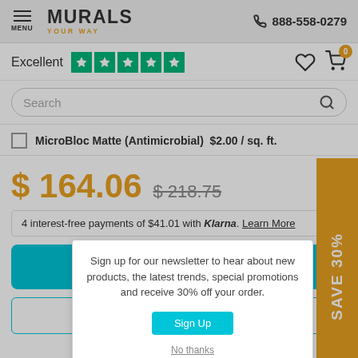MURALS YOUR WAY — 888-558-0279
Excellent ★★★★★
Search
MicroBloc Matte (Antimicrobial)  $2.00 / sq. ft.
$ 164.06  $ 218.75
4 interest-free payments of $41.01 with Klarna. Learn More
Add to Cart
SAVE 30%
Sign up for our newsletter to hear about new products, the latest trends, special promotions and receive 30% off your order.
Sign Up
No thanks